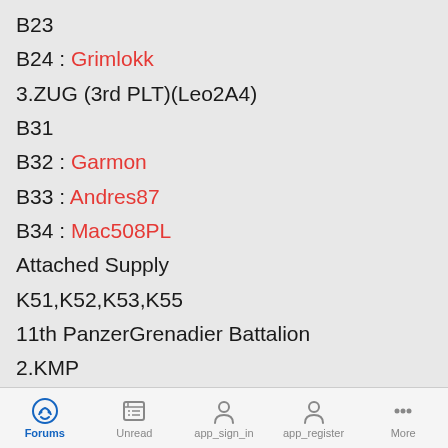B23
B24 : Grimlokk
3.ZUG (3rd PLT)(Leo2A4)
B31
B32 : Garmon
B33 : Andres87
B34 : Mac508PL
Attached Supply
K51,K52,K53,K55
11th PanzerGrenadier Battalion
2.KMP
1.ZUG (1st PLT)(Marder)
C11 : Wiglif
C12
Forums  Unread  app_sign_in  app_register  More